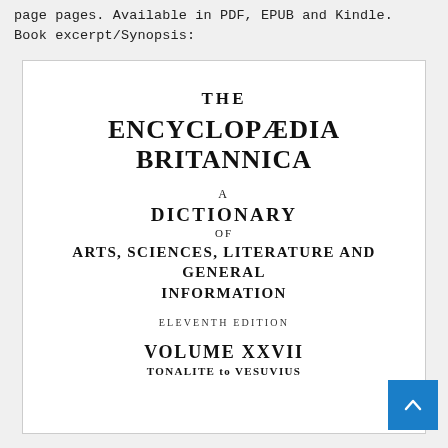page pages. Available in PDF, EPUB and Kindle. Book excerpt/Synopsis:
[Figure (illustration): Title page of The Encyclopaedia Britannica, Eleventh Edition, Volume XXVII, Tonalite to Vesuvius. White background with centered serif text showing: THE ENCYCLOPAEDIA BRITANNICA / A DICTIONARY OF ARTS, SCIENCES, LITERATURE AND GENERAL INFORMATION / ELEVENTH EDITION / VOLUME XXVII / TONALITE to VESUVIUS]
[Figure (other): Blue scroll-to-top button in the bottom right corner with a white upward chevron arrow.]